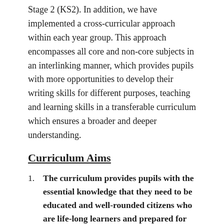Stage 2 (KS2). In addition, we have implemented a cross-curricular approach within each year group. This approach encompasses all core and non-core subjects in an interlinking manner, which provides pupils with more opportunities to develop their writing skills for different purposes, teaching and learning skills in a transferable curriculum which ensures a broader and deeper understanding.
Curriculum Aims
The curriculum provides pupils with the essential knowledge that they need to be educated and well-rounded citizens who are life-long learners and prepared for the world.
The curriculum is just one element in the